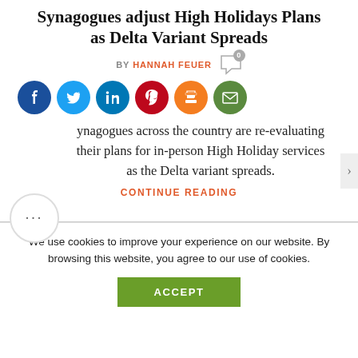Synagogues adjust High Holidays Plans as Delta Variant Spreads
BY HANNAH FEUER
[Figure (infographic): Social sharing icons: Facebook (blue), Twitter (light blue), LinkedIn (blue), Pinterest (red), Print (orange), Email (green)]
Synagogues across the country are re-evaluating their plans for in-person High Holiday services as the Delta variant spreads.
CONTINUE READING
We use cookies to improve your experience on our website. By browsing this website, you agree to our use of cookies.
ACCEPT